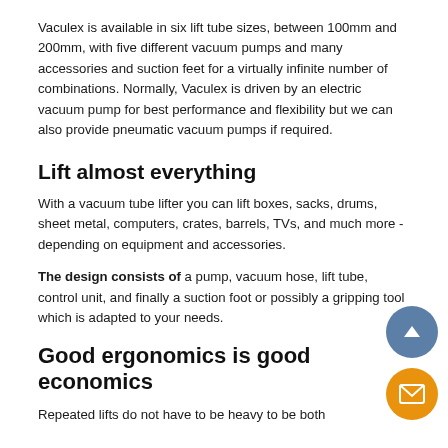Vaculex is available in six lift tube sizes, between 100mm and 200mm, with five different vacuum pumps and many accessories and suction feet for a virtually infinite number of combinations. Normally, Vaculex is driven by an electric vacuum pump for best performance and flexibility but we can also provide pneumatic vacuum pumps if required.
Lift almost everything
With a vacuum tube lifter you can lift boxes, sacks, drums, sheet metal, computers, crates, barrels, TVs, and much more - depending on equipment and accessories.
The design consists of a pump, vacuum hose, lift tube, control unit, and finally a suction foot or possibly a gripping tool which is adapted to your needs.
Good ergonomics is good economics
Repeated lifts do not have to be heavy to be both